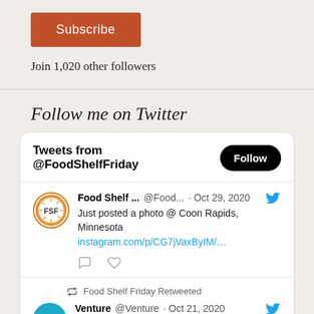Subscribe
Join 1,020 other followers
Follow me on Twitter
[Figure (screenshot): Twitter widget showing tweets from @FoodShelfFriday. First tweet: Food Shelf ... @Food... · Oct 29, 2020 - Just posted a photo @ Coon Rapids, Minnesota instagram.com/p/CG7jVaxByIM/... Second: Food Shelf Friday Retweeted - Venture @Venture · Oct 21, 2020 - Want to learn more about the work that Venture is doing in marginalized communities]